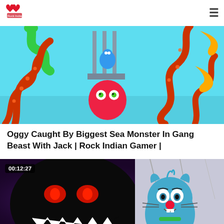[Logo] [Hamburger menu]
[Figure (illustration): Animated scene with red octopus tentacles, a red round creature with green eyes, a green snake, and a blue figure in a cage on a light blue background]
Oggy Caught By Biggest Sea Monster In Gang Beast With Jack | Rock Indian Gamer |
[Figure (illustration): Dark animated thumbnail showing a black demon with red glowing eyes and white teeth on the left, and a blue cartoon cat (Oggy) with a red nose on the right, with purple background. Duration badge: 00:12:27]